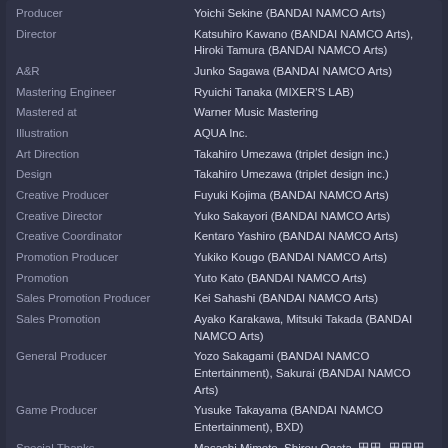| Role | Name |
| --- | --- |
| Producer | Yoichi Sekine (BANDAI NAMCO Arts) |
| Director | Katsuhiro Kawano (BANDAI NAMCO Arts), Hiroki Tamura (BANDAI NAMCO Arts) |
| A&R | Junko Sagawa (BANDAI NAMCO Arts) |
| Mastering Engineer | Ryuichi Tanaka (MIXER'S LAB) |
| Mastered at | Warner Music Mastering |
| Illustration | AQUA Inc. |
| Art Direction | Takahiro Umezawa (triplet design inc.) |
| Design | Takahiro Umezawa (triplet design inc.) |
| Creative Producer | Fuyuki Kojima (BANDAI NAMCO Arts) |
| Creative Director | Yuko Sakayori (BANDAI NAMCO Arts) |
| Creative Coordinator | Kentaro Yashiro (BANDAI NAMCO Arts) |
| Promotion Producer | Yukiko Kougo (BANDAI NAMCO Arts) |
| Promotion | Yuto Kato (BANDAI NAMCO Arts) |
| Sales Promotion Producer | Kei Sahashi (BANDAI NAMCO Arts) |
| Sales Promotion | Ayako Karakawa, Mitsuki Takada (BANDAI NAMCO Arts) |
| General Producer | Yozo Sakagami (BANDAI NAMCO Entertainment), Sakurai (BANDAI NAMCO Arts) |
| Game Producer | Yusuke Takayama (BANDAI NAMCO Entertainment), BXD) |
| Special Thanks | Masashi Mimoto, Shirou Ogata, 田田, 田田田田, 田田田田, Yasushi Ono, Mayuko Matsumoto, Saeko Imamura, 田田田, 田田 (BANDAI NAMCO Entertainment), BXD,LTD. |
| General Promotion Producer | Megumi Suzuki (BANDAI NAMCO Arts) |
| Executive Producer | Shunji Inoue (BANDAI NAMCO Arts) |
Tracklist
Disc 1